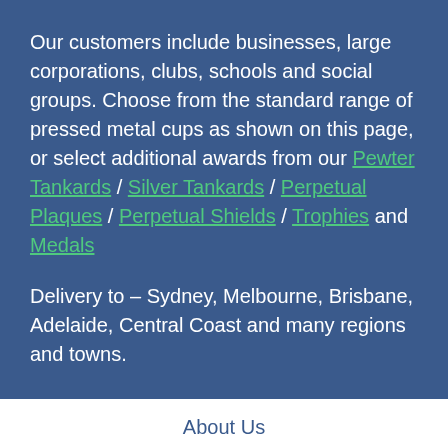Our customers include businesses, large corporations, clubs, schools and social groups. Choose from the standard range of pressed metal cups as shown on this page, or select additional awards from our Pewter Tankards / Silver Tankards / Perpetual Plaques / Perpetual Shields / Trophies and Medals
Delivery to – Sydney, Melbourne, Brisbane, Adelaide, Central Coast and many regions and towns.
About Us
Testimonials
Blog
We have supplied, engraved and delivered Trophies,